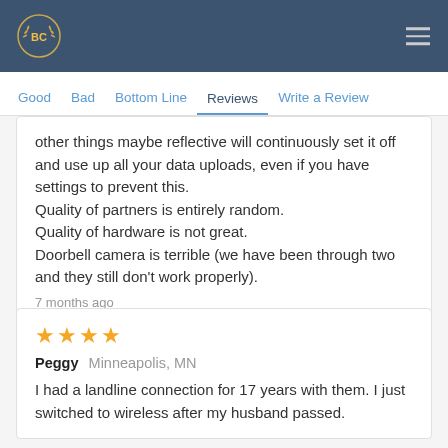BC [logo]
Good  Bad  Bottom Line  Reviews  Write a Review
other things maybe reflective will continuously set it off and use up all your data uploads, even if you have settings to prevent this.
Quality of partners is entirely random.
Quality of hardware is not great.
Doorbell camera is terrible (we have been through two and they still don't work properly).
7 months ago
[Figure (other): 4 gold star rating icons]
Peggy  Minneapolis, MN
I had a landline connection for 17 years with them. I just switched to wireless after my husband passed.